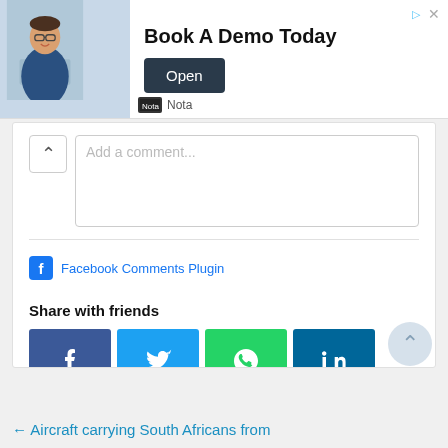[Figure (screenshot): Advertisement banner: photo of smiling businessman at desk, text 'Book A Demo Today', 'Open' button, Nota brand logo]
Add a comment...
Facebook Comments Plugin
Share with friends
[Figure (infographic): Social share buttons: Facebook (dark blue), Twitter (light blue), WhatsApp (green), LinkedIn (teal), Telegram (blue), Share/other (orange)]
← Aircraft carrying South Africans from